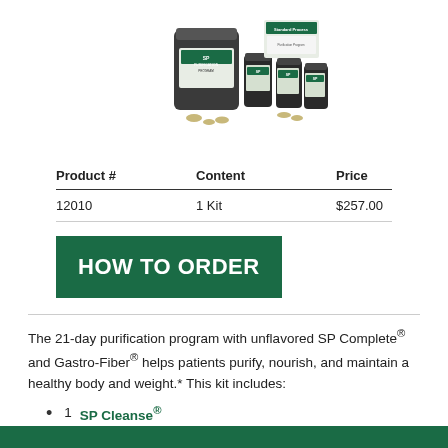[Figure (photo): Product image showing supplement kit with jars and bottles with green SP brand labels]
| Product # | Content | Price |
| --- | --- | --- |
| 12010 | 1 Kit | $257.00 |
HOW TO ORDER
The 21-day purification program with unflavored SP Complete® and Gastro-Fiber® helps patients purify, nourish, and maintain a healthy body and weight.* This kit includes:
1 SP Cleanse®
2 SP Complete®
2 Gastro-Fiber®
1 SP Green Food®